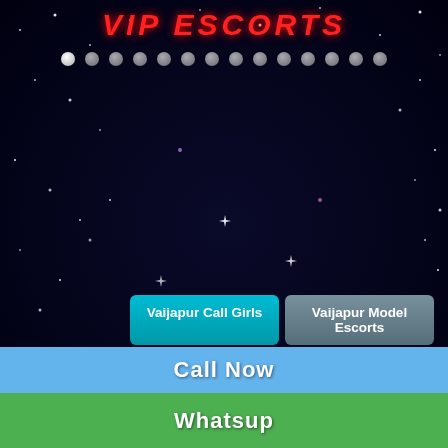VIP ESCORTS
[Figure (other): Row of circular navigation dots, first one highlighted]
Vaijapur Call Girls
Vaijapur Model Escorts
Vaijapur Housewife Escorts
Vaijapur Air-Hostess Escorts
Vaijapur Celebrity Escorts
Vaijapur Teen Escorts
Vaijapur Punjabi Escorts
Vaijapur VIP Escorts
Vaijapur High Profile Escorts
Vaijapur South Indian Escorts
Call Now
Whatsup